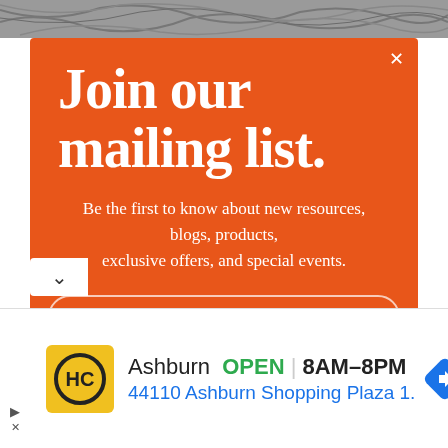[Figure (photo): Background image strip showing tangled wire or roots in grayscale]
Join our mailing list.
Be the first to know about new resources, blogs, products, exclusive offers, and special events.
FIRST NAME
[Figure (infographic): Advertisement banner: HC logo (yellow background, black circle HC text), Ashburn OPEN 8AM–8PM, 44110 Ashburn Shopping Plaza 1., navigation arrow icon]